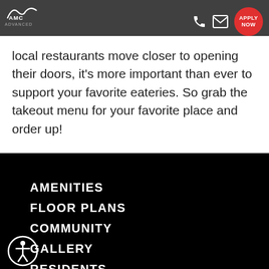AMC Advanced Management Company — header with phone, mail icons and APPLY NOW button
local restaurants move closer to opening their doors, it's more important than ever to support your favorite eateries. So grab the takeout menu for your favorite place and order up!
AMENITIES
FLOOR PLANS
COMMUNITY
GALLERY
RESIDENTS